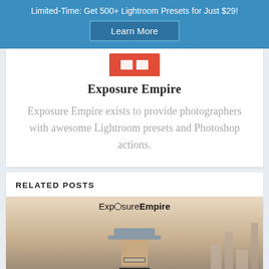Limited-Time: Get 500+ Lightroom Presets for Just $29! Learn More
[Figure (logo): Red icon/logo box with two white bars, representing Exposure Empire brand]
Exposure Empire
Exposure Empire exists to provide photographers with awesome Lightroom presets and Photoshop actions.
RELATED POSTS
[Figure (photo): Photo of a person wearing a grey flat-cap hat and holding a camera, with buildings in the background. ExposureEmpire logo text overlaid at top.]